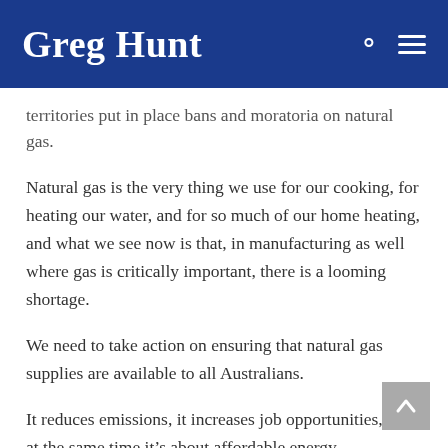Greg Hunt
territories put in place bans and moratoria on natural gas.
Natural gas is the very thing we use for our cooking, for heating our water, and for so much of our home heating, and what we see now is that, in manufacturing as well where gas is critically important, there is a looming shortage.
We need to take action on ensuring that natural gas supplies are available to all Australians.
It reduces emissions, it increases job opportunities, and at the same time it’s about affordable energy.
So we will take action as a national government, and I will